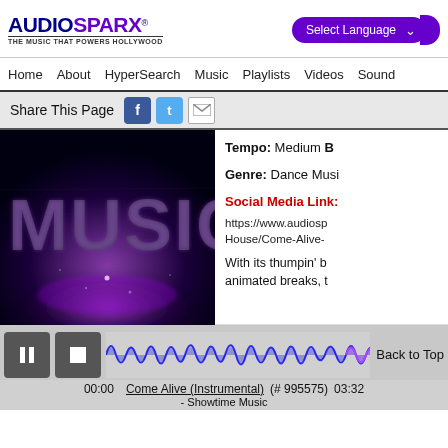AUDIOSPARX® THE MUSIC THAT POWERS HOLLYWOOD | Select Language
Home   About   HyperSearch   Music   Playlists   Videos   Sound
Share This Page [Facebook] [Twitter] [Email]
[Figure (photo): Dark background with large stylized text 'MUSIC' in purple/grunge design with cosmic purple light effect]
Tempo: Medium B
Genre: Dance Musi
Social Media Link: https://www.audiosp House/Come-Alive-
With its thumpin' b animated breaks, t
[Figure (other): Audio player waveform showing blue and purple waveform visualization]
00:00   Come Alive (Instrumental)   (# 995575)   03:32
- Showtime Music